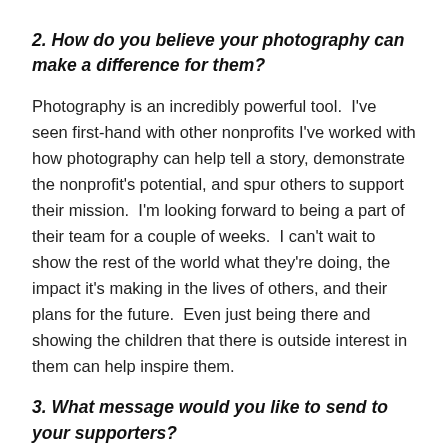2. How do you believe your photography can make a difference for them?
Photography is an incredibly powerful tool.  I've seen first-hand with other nonprofits I've worked with how photography can help tell a story, demonstrate the nonprofit's potential, and spur others to support their mission.  I'm looking forward to being a part of their team for a couple of weeks.  I can't wait to show the rest of the world what they're doing, the impact it's making in the lives of others, and their plans for the future.  Even just being there and showing the children that there is outside interest in them can help inspire them.
3. What message would you like to send to your supporters?
Everyone can personally relate to a program like X-SUBA because we've all been touched by similar programs whether we realize it or not.  All of us have participated in some kind